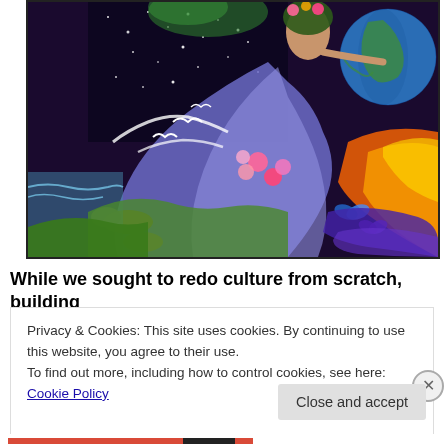[Figure (illustration): Colorful fantasy painting of a woman in flowing robes holding a globe, surrounded by animals, birds, flowers, butterflies, and a starry cosmos. Vivid colors including purple, blue, green, red, orange, and yellow fill the composition.]
While we sought to redo culture from scratch, building
Privacy & Cookies: This site uses cookies. By continuing to use this website, you agree to their use.
To find out more, including how to control cookies, see here: Cookie Policy